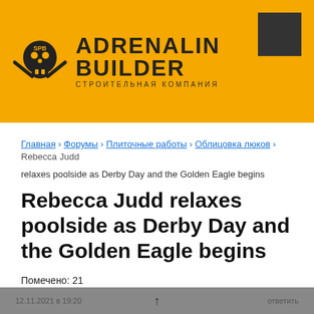[Figure (logo): Adrenalin Builder company logo with skull and crossbones icon, brand name in large uppercase letters, and Russian subtitle СТРОИТЕЛЬНАЯ КОМПАНИЯ]
Главная › Форумы › Плиточные работы › Облицовка люков › Rebecca Judd relaxes poolside as Derby Day and the Golden Eagle begins
Rebecca Judd relaxes poolside as Derby Day and the Golden Eagle begins
Помечено: 21
Просмотр 1 сообщения - с 1 по 1 (всего 1)
| Автор | Сообщения |
| --- | --- |